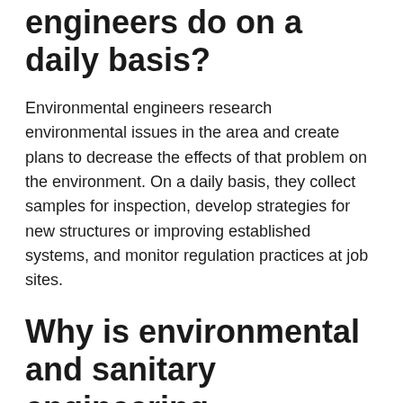engineers do on a daily basis?
Environmental engineers research environmental issues in the area and create plans to decrease the effects of that problem on the environment. On a daily basis, they collect samples for inspection, develop strategies for new structures or improving established systems, and monitor regulation practices at job sites.
Why is environmental and sanitary engineering important?
When do environmental results...